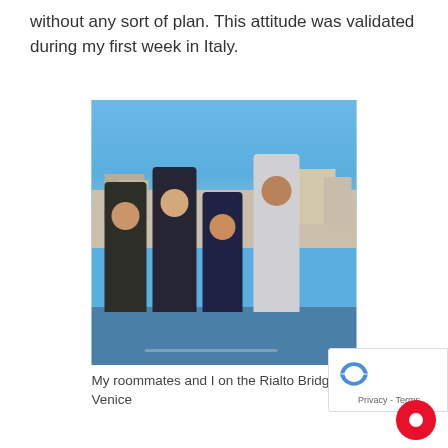without any sort of plan. This attitude was validated during my first week in Italy.
[Figure (photo): Four young men posing together on the Rialto Bridge in Venice, Italy. Canal and historic buildings visible in background under blue sky.]
My roommates and I on the Rialto Bridge in Venice